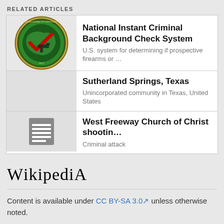RELATED ARTICLES
National Instant Criminal Background Check System
U.S. system for determining if prospective firearms or …
Sutherland Springs, Texas
Unincorporated community in Texas, United States
West Freeway Church of Christ shootin…
Criminal attack
[Figure (logo): Wikipedia logo with stylized text]
Content is available under CC BY-SA 3.0 unless otherwise noted.
Terms of Use • Privacy policy • Desktop